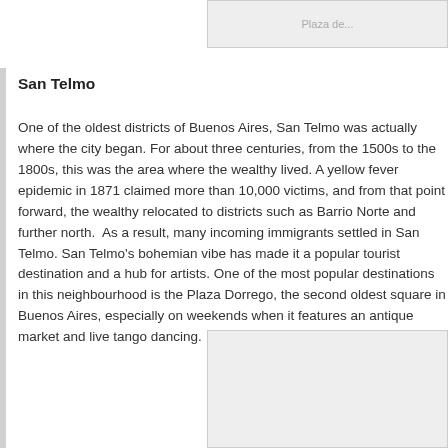[Figure (photo): Partial image placeholder at top right, with faint text 'Plaza de...']
San Telmo
One of the oldest districts of Buenos Aires, San Telmo was actually where the city began. For about three centuries, from the 1500s to the 1800s, this was the area where the wealthy lived. A yellow fever epidemic in 1871 claimed more than 10,000 victims, and from that point forward, the wealthy relocated to districts such as Barrio Norte and further north. As a result, many incoming immigrants settled in San Telmo. San Telmo's bohemian vibe has made it a popular tourist destination and a hub for artists. One of the most popular destinations in this neighbourhood is the Plaza Dorrego, the second oldest square in Buenos Aires, especially on weekends when it features an antique market and live tango dancing.
[Figure (photo): Image placeholder at bottom right]